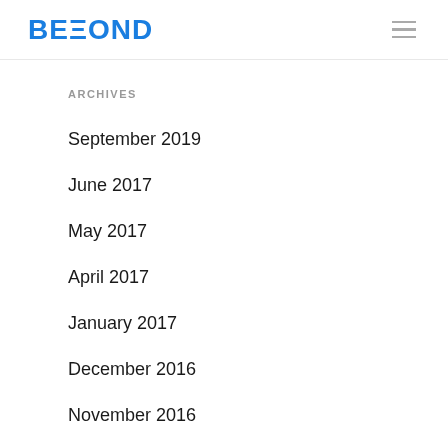BEYOND
ARCHIVES
September 2019
June 2017
May 2017
April 2017
January 2017
December 2016
November 2016
October 2016
June 2016
May 2016